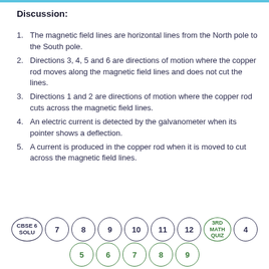Discussion:
The magnetic field lines are horizontal lines from the North pole to the South pole.
Directions 3, 4, 5 and 6 are directions of motion where the copper rod moves along the magnetic field lines and does not cut the lines.
Directions 1 and 2 are directions of motion where the copper rod cuts across the magnetic field lines.
An electric current is detected by the galvanometer when its pointer shows a deflection.
A current is produced in the copper rod when it is moved to cut across the magnetic field lines.
[Figure (other): Navigation circles row with labels: CBSE 6 SOLU, 7, 8, 9, 10, 11, 12, 3RD MATH QUIZ, 4 (top row); 5, 6, 7, 8, 9 (bottom row, green)]